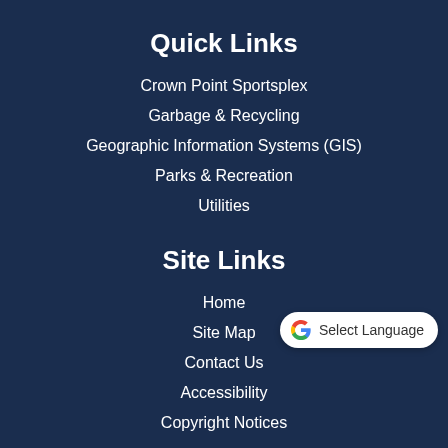Quick Links
Crown Point Sportsplex
Garbage & Recycling
Geographic Information Systems (GIS)
Parks & Recreation
Utilities
Site Links
Home
Site Map
Contact Us
Accessibility
Copyright Notices